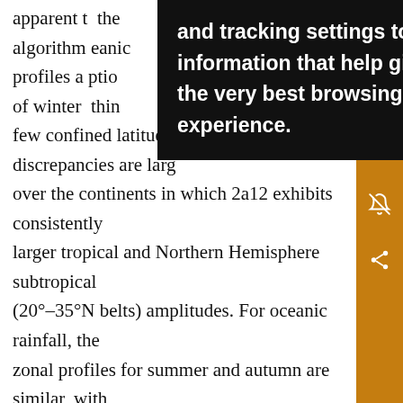apparent t... the algorithm... eanic profiles a... ption of winter... thin few confined latitude bands. The discrepancies are larg over the continents in which 2a12 exhibits consistently larger tropical and Northern Hemisphere subtropical (20°–35°N belts) amplitudes. For oceanic rainfall, the zonal profiles for summer and autumn are similar, with dominant peak near 7.5°N caused by the seasonal northward migration of the ITCZ. The winter and spring oceanic profiles also exhibit similar features with a main peak near 5°N and a secondary peak near 7.5°S. The southward ITCZ movement along with the intensification of the SPCZ during the austral summer and autumn periods lead to this double-peak structure. In the case of
[Figure (other): Browser cookie/tracking tooltip overlay: 'and tracking settings to store information that help give you the very best browsing experience.']
[Figure (other): Orange sidebar with save, email, quote, notification, and share icon buttons]